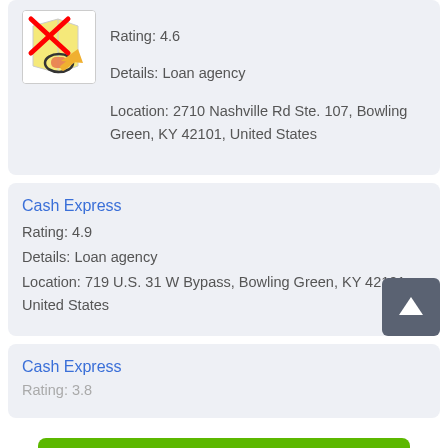[Figure (other): App icon with red X overlay and pencil/arrow symbol]
Rating: 4.6
Details: Loan agency
Location: 2710 Nashville Rd Ste. 107, Bowling Green, KY 42101, United States
Cash Express
Rating: 4.9
Details: Loan agency
Location: 719 U.S. 31 W Bypass, Bowling Green, KY 42101, United States
Cash Express
Rating: 3.8 (partially visible)
Apply Now
Applying does NOT affect your credit score!
No credit check to apply.